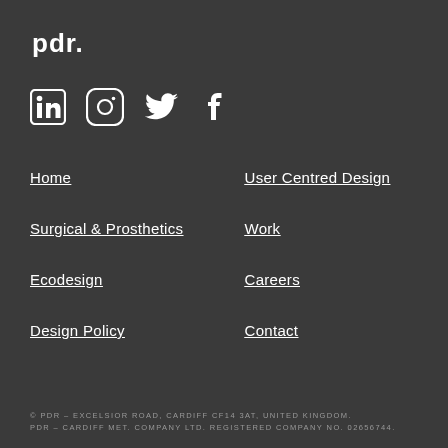pdr.
[Figure (illustration): Social media icons row: LinkedIn, Instagram, Twitter, Facebook]
Home
User Centred Design
Surgical & Prosthetics
Work
Ecodesign
Careers
Design Policy
Contact
© PDR – EXCELSIOR ROAD, CARDIFF CF14 3AT, UNITED KINGDOM.
PDR – CARDIFF MET. COMPANY LTD. REGISTERED COMPANY NO. 02656744.